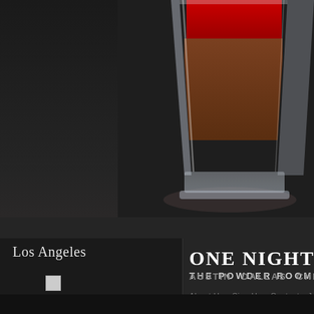[Figure (photo): Shot glass with layered red and brown liquid, partially cropped on right side of page, against dark background]
ONE NIGHT IN BANG[KOK] / THE POWDER ROOM, HOLLYW[OOD]
Los Angeles
[Figure (photo): Broken/missing image placeholder icon]
AUSTIN   DALLAS   CHICAGO   NEW YORK   LO[S ANGELES]
About Us   Sign Up   Contact   Jobs   Advertise